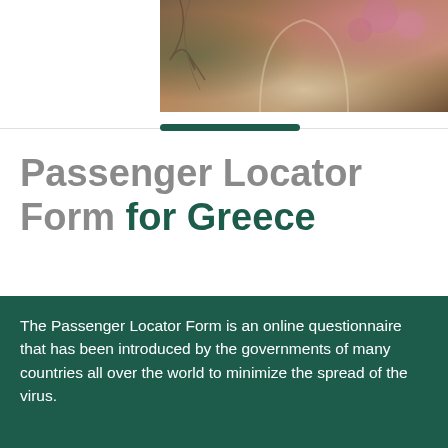[Figure (photo): Partial photo of an ornate arched structure with trees with pink blossoms and dried/feathery palm-like fronds in the foreground]
Passenger Locator Form for Greece
Greek PLF must be filled out by every person entering Greece according to the newly introduced rules and regulations regarding the Covid-19 pandemic.
The Passenger Locator Form is an online questionnaire that has been introduced by the governments of many countries all over the world to minimize the spread of the virus.